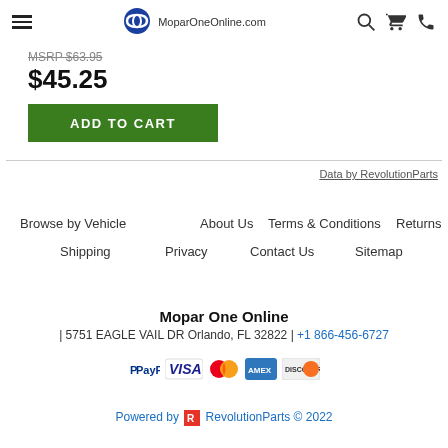MoparOneOnline.com
MSRP $63.95
$45.25
ADD TO CART
Data by RevolutionParts
Browse by Vehicle
About Us
Terms & Conditions
Returns
Shipping
Privacy
Contact Us
Sitemap
Mopar One Online
| 5751 EAGLE VAIL DR Orlando, FL 32822 | +1 866-456-6727
[Figure (logo): Payment method logos: PayPal, VISA, Mastercard, American Express, Discover]
Powered by RevolutionParts © 2022